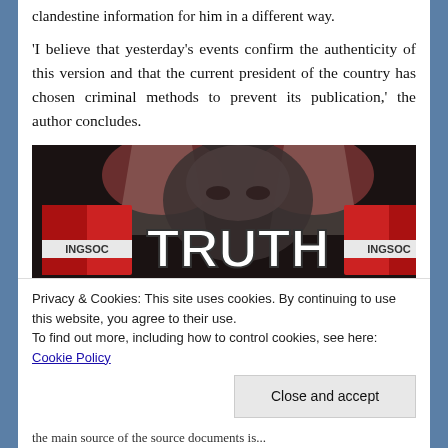clandestine information for him in a different way.
'I believe that yesterday's events confirm the authenticity of this version and that the current president of the country has chosen criminal methods to prevent its publication,' the author concludes.
[Figure (photo): Dark propaganda-style image showing a large face in background, crowd in foreground, with text 'TRUTH' in large white letters, 'INGSOC' banners on left and right, subtitle 'It's the new hate speech', and partially visible text 'They wouldn't need to']
Privacy & Cookies: This site uses cookies. By continuing to use this website, you agree to their use.
To find out more, including how to control cookies, see here: Cookie Policy
Close and accept
the main source of the source documents is...